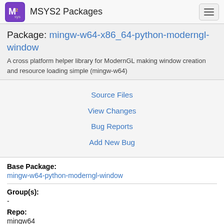MSYS2 Packages
Package: mingw-w64-x86_64-python-moderngl-window
A cross platform helper library for ModernGL making window creation and resource loading simple (mingw-w64)
Source Files
View Changes
Bug Reports
Add New Bug
Base Package:
mingw-w64-python-moderngl-window
Group(s):
-
Repo:
mingw64
Upstream URL:
https://github.com/moderngl/moderngl_window
License(s):